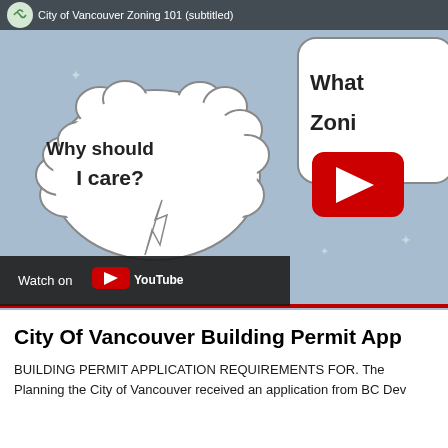[Figure (screenshot): YouTube video thumbnail for 'City of Vancouver Zoning 101 (subtitled)' showing cartoon speech bubbles on a blue-grey background. Left bubble reads 'Why should I care?' and right bubble (partially cropped) reads 'What Zoni...' with a YouTube play button in the center. Bottom shows 'Watch on YouTube' bar.]
City Of Vancouver Building Permit App...
BUILDING PERMIT APPLICATION REQUIREMENTS FOR. The Planning the City of Vancouver received an application from BC Dev...